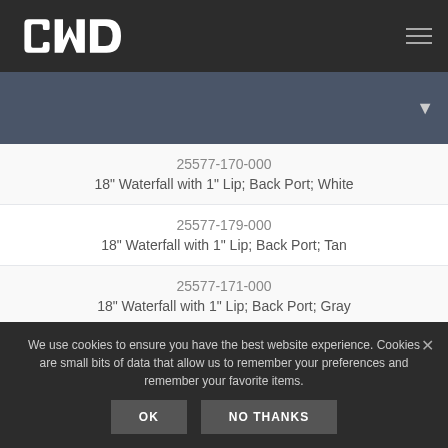CMP
25577-170-000
18" Waterfall with 1" Lip; Back Port; White
25577-179-000
18" Waterfall with 1" Lip; Back Port; Tan
25577-171-000
18" Waterfall with 1" Lip; Back Port; Gray
We use cookies to ensure you have the best website experience. Cookies are small bits of data that allow us to remember your preferences and remember your favorite items.